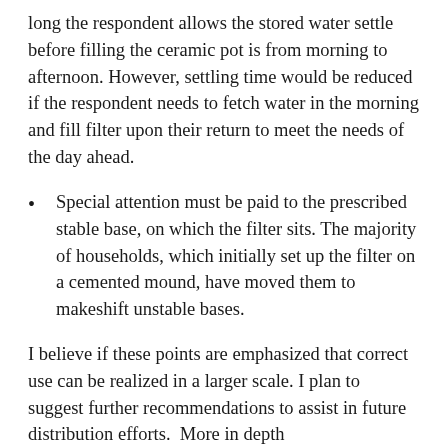long the respondent allows the stored water settle before filling the ceramic pot is from morning to afternoon. However, settling time would be reduced if the respondent needs to fetch water in the morning and fill filter upon their return to meet the needs of the day ahead.
Special attention must be paid to the prescribed stable base, on which the filter sits. The majority of households, which initially set up the filter on a cemented mound, have moved them to makeshift unstable bases.
I believe if these points are emphasized that correct use can be realized in a larger scale. I plan to suggest further recommendations to assist in future distribution efforts.  More in depth recommendations will be communicated to Pure Home Water as my data analysis continues and progresses.  I feel that my work in the village has shown to me, from an...